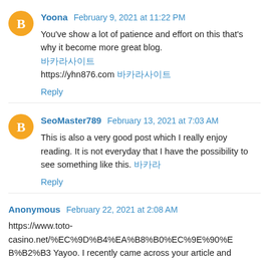Yoona February 9, 2021 at 11:22 PM
You've show a lot of patience and effort on this that's why it become more great blog.
바카라사이트
https://yhn876.com 바카라사이트
Reply
SeoMaster789 February 13, 2021 at 7:03 AM
This is also a very good post which I really enjoy reading. It is not everyday that I have the possibility to see something like this. 바카라
Reply
Anonymous February 22, 2021 at 2:08 AM
https://www.toto-casino.net/%EC%9D%B4%EA%B8%B0%EC%9E%90%EC%97%84B%B2%B3 Yayoo. I recently came across your article and